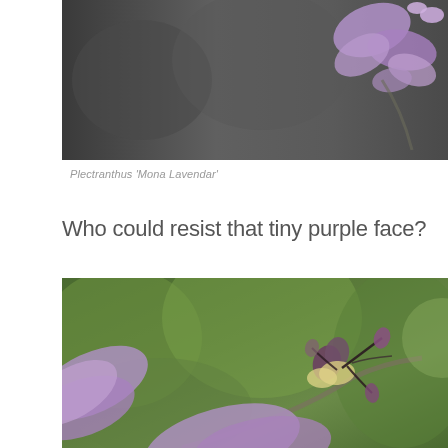[Figure (photo): Close-up macro photograph of Plectranthus 'Mona Lavendar' purple flowers against a dark blurred background, showing small purple petals and buds, top portion of plant.]
Plectranthus  'Mona Lavendar'
Who could resist that tiny purple face?
[Figure (photo): Close-up macro photograph of Plectranthus 'Mona Lavendar' purple flower stems and buds against a blurred green background, showing purple buds, dark branching stems, and soft purple petals.]